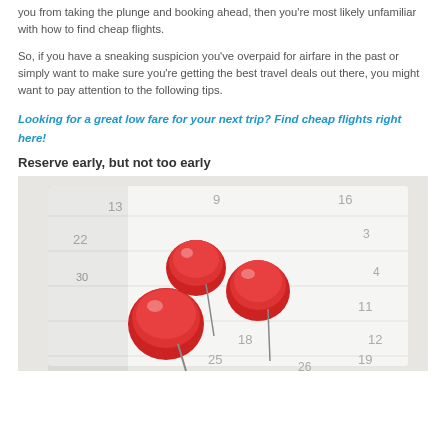you from taking the plunge and booking ahead, then you're most likely unfamiliar with how to find cheap flights.
So, if you have a sneaking suspicion you've overpaid for airfare in the past or simply want to make sure you're getting the best travel deals out there, you might want to pay attention to the following tips.
Looking for a great low fare for your next trip? Find cheap flights right here!
Reserve early, but not too early
[Figure (photo): Three red push pins stuck into a calendar, showing dates including 30, 17, 25, 3, 4, 10, 11, 12, 18, 19, 25, 26]